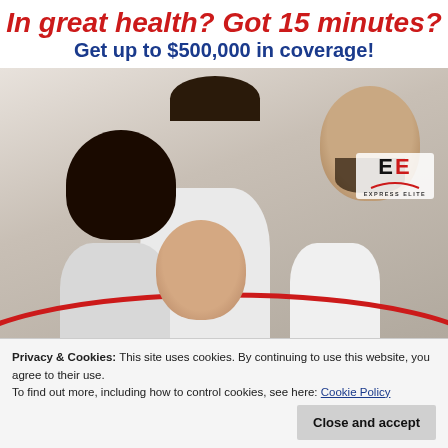In great health? Got 15 minutes?
Get up to $500,000 in coverage!
[Figure (photo): Family of three — a man (father), a woman (mother), and a young child — smiling and embracing, shown on white background. An 'EE Express Elite' logo appears in the upper right.]
If you're between 18 and 60 years of age,
of Canadian citizenship. We have the COVERAGE, Express Elite is right for you! Advertisements
Privacy & Cookies: This site uses cookies. By continuing to use this website, you agree to their use.
To find out more, including how to control cookies, see here: Cookie Policy
Close and accept